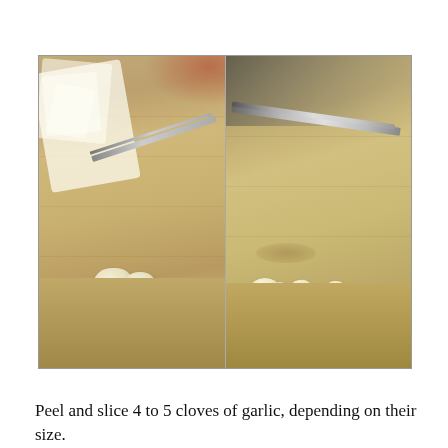[Figure (photo): Two side-by-side photos on a wooden cutting board. Left photo: two peeled garlic cloves with garlic paper/skin scraps beside them and a knife. Right photo: multiple thin slices of garlic spread on the cutting board with a knife nearby.]
Peel and slice 4 to 5 cloves of garlic, depending on their size. And yes, I literally peeled each one by hand. I desperately need one of those thingies you roll the garlic in and